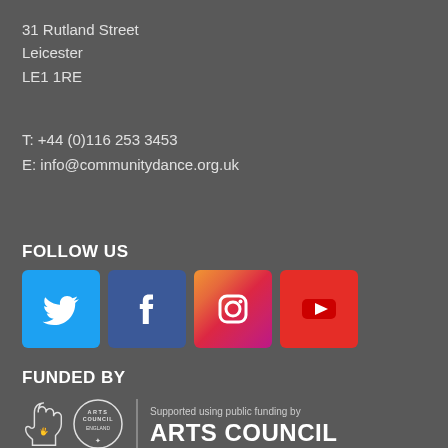31 Rutland Street
Leicester
LE1 1RE
T: +44 (0)116 253 3453
E: info@communitydance.org.uk
FOLLOW US
[Figure (logo): Social media icons: Twitter (blue bird), Facebook (blue f), Instagram (gradient camera), YouTube (red play button)]
FUNDED BY
[Figure (logo): Arts Council England logo with lottery hand symbol, circular Arts Council England badge, divider, and text: Supported using public funding by ARTS COUNCIL]